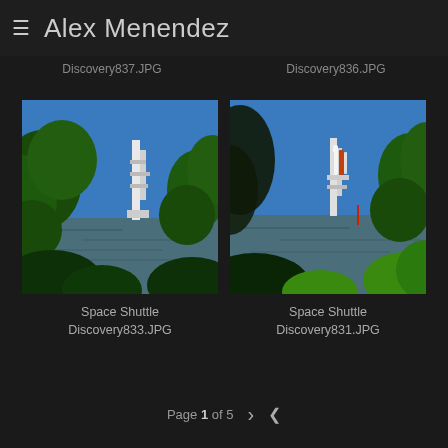≡ Alex Menendez
Discovery837.JPG
Discovery836.JPG
[Figure (photo): Space Shuttle Discovery viewed through mangrove vegetation across a waterway, with launch pad structure visible in background under blue sky.]
Space Shuttle Discovery833.JPG
[Figure (photo): Space Shuttle Discovery on launch pad viewed through mangrove vegetation across a waterway, shuttle and orange external tank visible, blue sky background.]
Space Shuttle Discovery831.JPG
Page 1 of 5